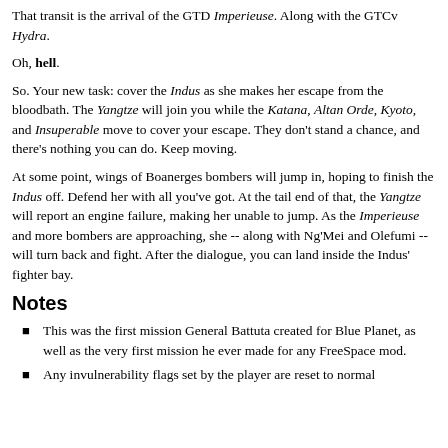That transit is the arrival of the GTD Imperieuse. Along with the GTCv Hydra.
Oh, hell.
So. Your new task: cover the Indus as she makes her escape from the bloodbath. The Yangtze will join you while the Katana, Altan Orde, Kyoto, and Insuperable move to cover your escape. They don't stand a chance, and there's nothing you can do. Keep moving.
At some point, wings of Boanerges bombers will jump in, hoping to finish the Indus off. Defend her with all you've got. At the tail end of that, the Yangtze will report an engine failure, making her unable to jump. As the Imperieuse and more bombers are approaching, she -- along with Ng'Mei and Olefumi -- will turn back and fight. After the dialogue, you can land inside the Indus' fighter bay.
Notes
This was the first mission General Battuta created for Blue Planet, as well as the very first mission he ever made for any FreeSpace mod.
Any invulnerability flags set by the player are reset to normal